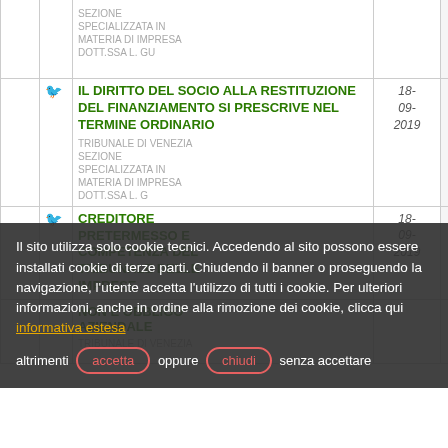|  |  | Titolo | Data | Info |
| --- | --- | --- | --- | --- |
|  | 🐦 | SEZIONE SPECIALIZZATA IN MATERIA DI IMPRESA dott.ssa L. Gu |  |  |
|  | 🐦 | IL DIRITTO DEL SOCIO ALLA RESTITUZIONE DEL FINANZIAMENTO SI PRESCRIVE NEL TERMINE ORDINARIO
TRIBUNALE DI VENEZIA SEZIONE SPECIALIZZATA IN MATERIA DI IMPRESA dott.ssa L. G | 18-09-2019 | ℹ |
|  | 🐦 | CREDITORE PRETERMESSO E COMPETENZA DEL TRIBUNALE DELLE IMPRESE | 18-09-2019 | ℹ |
|  |  | NON È OBBLIGO AZIENDALE
TRIBUNALE DI VENEZIA |  |  |
Il sito utilizza solo cookie tecnici. Accedendo al sito possono essere installati cookie di terze parti. Chiudendo il banner o proseguendo la navigazione, l'utente accetta l'utilizzo di tutti i cookie. Per ulteriori informazioni, anche in ordine alla rimozione dei cookie, clicca qui informativa estesa altrimenti accetta oppure chiudi senza accettare